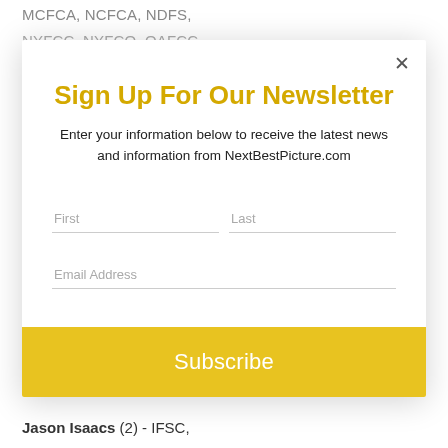MCFCA, NCFCA, NDFS,
NYFCC, NYFCO, OAFCC,
[Figure (screenshot): Newsletter sign-up modal dialog with close button (×), title 'Sign Up For Our Newsletter', description text, First and Last name fields, Email Address field, and a Subscribe button.]
Jason Isaacs (2) - IFSC,